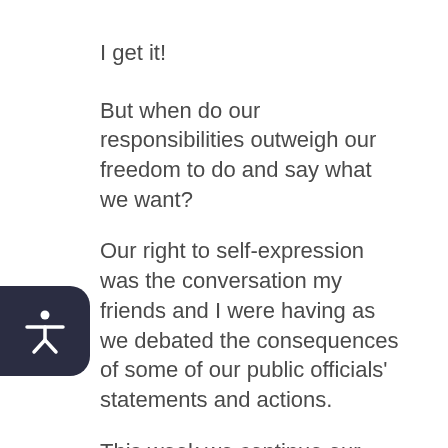I get it!
But when do our responsibilities outweigh our freedom to do and say what we want?
Our right to self-expression was the conversation my friends and I were having as we debated the consequences of some of our public officials' statements and actions.
This week we continue our spirited discussion. Be part of the conversation as we explore if leaders who hold positions to serve, protect or represent all